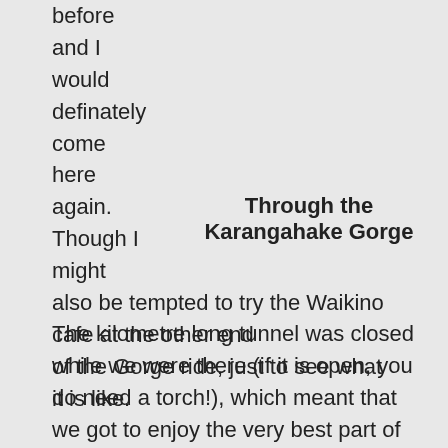before
and I
would
definately
come
here
again.
Though I
might
also be tempted to try the Waikino cafe at the other end of the Gorge ride, just to see what it is like.
Through the Karangahake Gorge
The kilometre long tunnel was closed while we were there (if it is open, you do need a torch!), which meant that we got to enjoy the very best part of this walkway through the Gorge itself.  We had to walk our bikes, but it was worth it – if the tunnel is open, I highly recommend locking your bikes and walking back along this part of